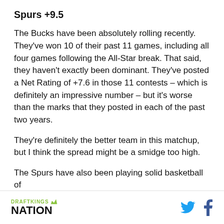Spurs +9.5
The Bucks have been absolutely rolling recently. They've won 10 of their past 11 games, including all four games following the All-Star break. That said, they haven't exactly been dominant. They've posted a Net Rating of +7.6 in those 11 contests – which is definitely an impressive number – but it's worse than the marks that they posted in each of the past two years.
They're definitely the better team in this matchup, but I think the spread might be a smidge too high.
The Spurs have also been playing solid basketball of
DRAFTKINGS NATION